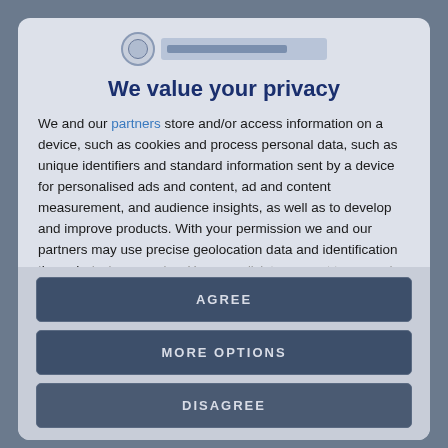[Figure (logo): Globe/shield logo with horizontal text bar beside it]
We value your privacy
We and our partners store and/or access information on a device, such as cookies and process personal data, such as unique identifiers and standard information sent by a device for personalised ads and content, ad and content measurement, and audience insights, as well as to develop and improve products. With your permission we and our partners may use precise geolocation data and identification through device scanning. You may click to consent to our and our partners'
AGREE
MORE OPTIONS
DISAGREE